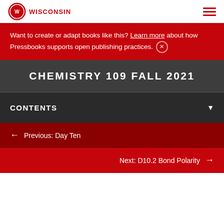WISCONSIN [logo] [menu icon]
Want to create or adapt books like this? Learn more about how Pressbooks supports open publishing practices.
CHEMISTRY 109 FALL 2021
CONTENTS
← Previous: Day Ten
Next: D10.2 Bond Polarity →